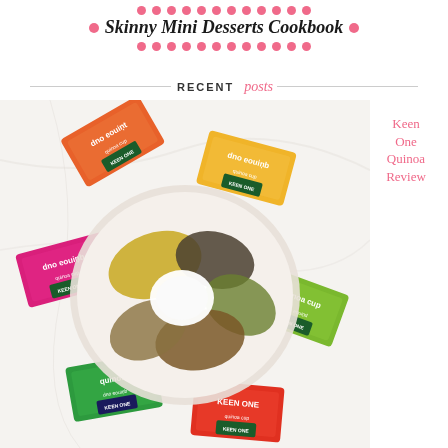Skinny Mini Desserts Cookbook
RECENT posts
Keen One Quinoa Review
[Figure (photo): Overhead photo of a white plate with multiple varieties of quinoa arranged in sections, surrounded by colorful product packages of Keen One Quinoa cups in orange, yellow, pink, green, and red/orange colors on a white marble surface.]